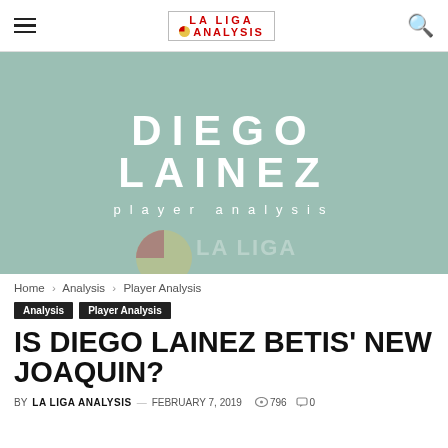LA LIGA ANALYSIS
[Figure (illustration): Hero banner with muted teal/sage green background displaying 'DIEGO LAINEZ' in large white bold uppercase letters and 'player analysis' in spaced white light font below, with a watermark logo at the bottom]
Home › Analysis › Player Analysis
Analysis   Player Analysis
IS DIEGO LAINEZ BETIS' NEW JOAQUIN?
BY LA LIGA ANALYSIS  —  FEBRUARY 7, 2019   796   0